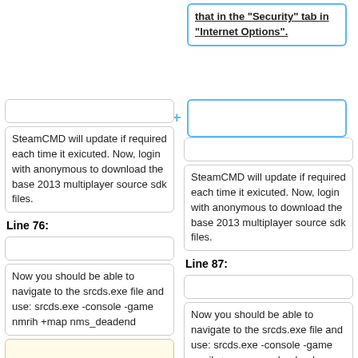that in the "Security" tab in "Internet Options".
SteamCMD will update if required each time it exicuted. Now, login with anonymous to download the base 2013 multiplayer source sdk files.
SteamCMD will update if required each time it exicuted. Now, login with anonymous to download the base 2013 multiplayer source sdk files.
Line 76:
Line 87:
Now you should be able to navigate to the srcds.exe file and use: srcds.exe -console -game nmrih +map nms_deadend
Now you should be able to navigate to the srcds.exe file and use: srcds.exe -console -game nmrih +map nms_deadend